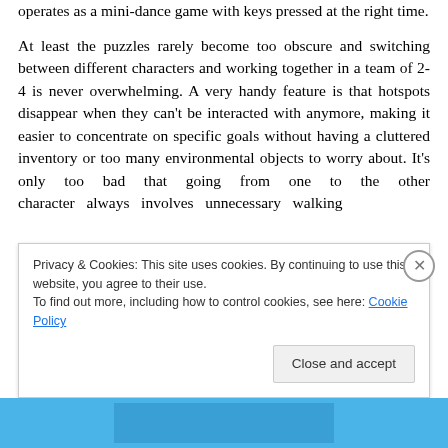…operates as a mini-dance game with keys pressed at the right time.

At least the puzzles rarely become too obscure and switching between different characters and working together in a team of 2-4 is never overwhelming. A very handy feature is that hotspots disappear when they can't be interacted with anymore, making it easier to concentrate on specific goals without having a cluttered inventory or too many environmental objects to worry about. It's only too bad that going from one to the other character always involves unnecessary walking
Privacy & Cookies: This site uses cookies. By continuing to use this website, you agree to their use.
To find out more, including how to control cookies, see here: Cookie Policy
Close and accept